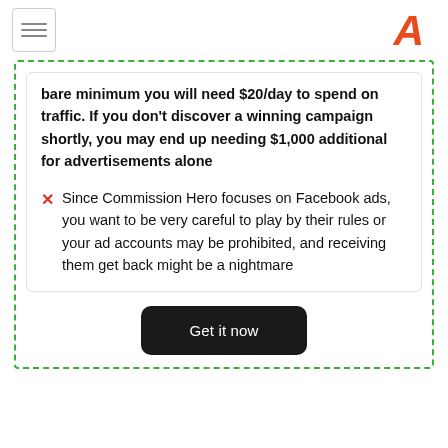bare minimum you will need $20/day to spend on traffic. If you don't discover a winning campaign shortly, you may end up needing $1,000 additional for advertisements alone
Since Commission Hero focuses on Facebook ads, you want to be very careful to play by their rules or your ad accounts may be prohibited, and receiving them get back might be a nightmare
Get it now